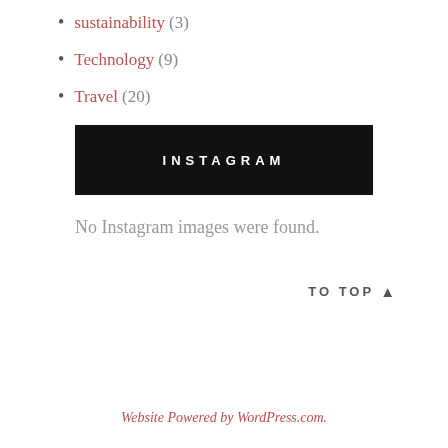sustainability (3)
Technology (9)
Travel (20)
INSTAGRAM
No Instagram images were found.
TO TOP ▲
Website Powered by WordPress.com.